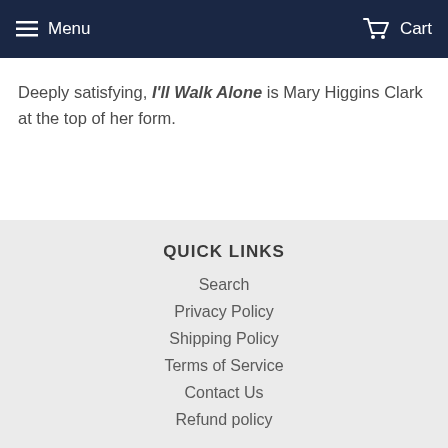Menu  Cart
Deeply satisfying, I'll Walk Alone is Mary Higgins Clark at the top of her form.
QUICK LINKS
Search
Privacy Policy
Shipping Policy
Terms of Service
Contact Us
Refund policy
CONTACT US: